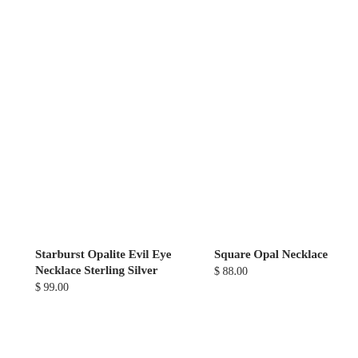Starburst Opalite Evil Eye Necklace Sterling Silver
$ 99.00
Square Opal Necklace
$ 88.00